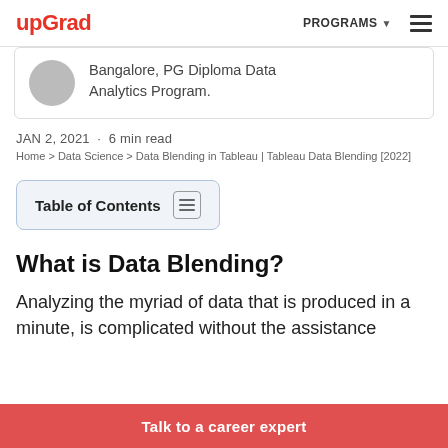upGrad | PROGRAMS ☰
Bangalore, PG Diploma Data Analytics Program.
JAN 2, 2021 · 6 min read
Home > Data Science > Data Blending in Tableau | Tableau Data Blending [2022]
Table of Contents
What is Data Blending?
Analyzing the myriad of data that is produced in a minute, is complicated without the assistance
Talk to a career expert